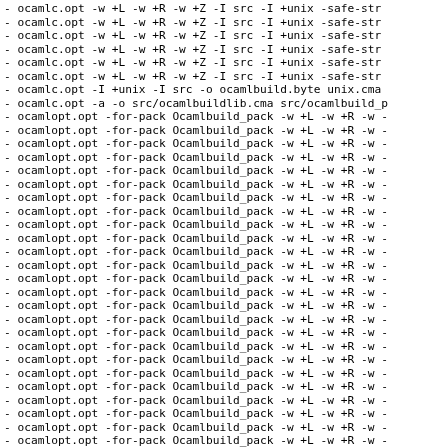- ocamlc.opt -w +L -w +R -w +Z -I src -I +unix -safe-str
- ocamlc.opt -w +L -w +R -w +Z -I src -I +unix -safe-str
- ocamlc.opt -w +L -w +R -w +Z -I src -I +unix -safe-str
- ocamlc.opt -w +L -w +R -w +Z -I src -I +unix -safe-str
- ocamlc.opt -w +L -w +R -w +Z -I src -I +unix -safe-str
- ocamlc.opt -w +L -w +R -w +Z -I src -I +unix -safe-str
- ocamlc.opt -I +unix -I src -o ocamlbuild.byte unix.cma
- ocamlc.opt -a -o src/ocamlbuildlib.cma src/ocamlbuild_p
- ocamlopt.opt -for-pack Ocamlbuild_pack -w +L -w +R -w -
- ocamlopt.opt -for-pack Ocamlbuild_pack -w +L -w +R -w -
- ocamlopt.opt -for-pack Ocamlbuild_pack -w +L -w +R -w -
- ocamlopt.opt -for-pack Ocamlbuild_pack -w +L -w +R -w -
- ocamlopt.opt -for-pack Ocamlbuild_pack -w +L -w +R -w -
- ocamlopt.opt -for-pack Ocamlbuild_pack -w +L -w +R -w -
- ocamlopt.opt -for-pack Ocamlbuild_pack -w +L -w +R -w -
- ocamlopt.opt -for-pack Ocamlbuild_pack -w +L -w +R -w -
- ocamlopt.opt -for-pack Ocamlbuild_pack -w +L -w +R -w -
- ocamlopt.opt -for-pack Ocamlbuild_pack -w +L -w +R -w -
- ocamlopt.opt -for-pack Ocamlbuild_pack -w +L -w +R -w -
- ocamlopt.opt -for-pack Ocamlbuild_pack -w +L -w +R -w -
- ocamlopt.opt -for-pack Ocamlbuild_pack -w +L -w +R -w -
- ocamlopt.opt -for-pack Ocamlbuild_pack -w +L -w +R -w -
- ocamlopt.opt -for-pack Ocamlbuild_pack -w +L -w +R -w -
- ocamlopt.opt -for-pack Ocamlbuild_pack -w +L -w +R -w -
- ocamlopt.opt -for-pack Ocamlbuild_pack -w +L -w +R -w -
- ocamlopt.opt -for-pack Ocamlbuild_pack -w +L -w +R -w -
- ocamlopt.opt -for-pack Ocamlbuild_pack -w +L -w +R -w -
- ocamlopt.opt -for-pack Ocamlbuild_pack -w +L -w +R -w -
- ocamlopt.opt -for-pack Ocamlbuild_pack -w +L -w +R -w -
- ocamlopt.opt -for-pack Ocamlbuild_pack -w +L -w +R -w -
- ocamlopt.opt -for-pack Ocamlbuild_pack -w +L -w +R -w -
- ocamlopt.opt -for-pack Ocamlbuild_pack -w +L -w +R -w -